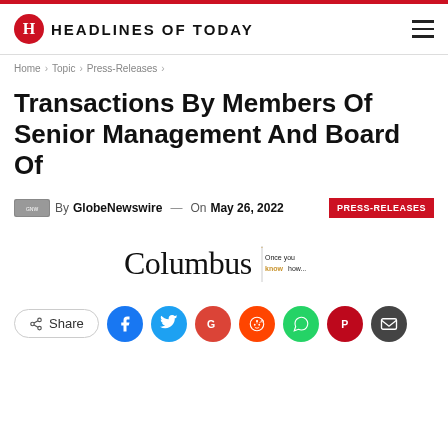HEADLINES OF TODAY
Home > Topic > Press-Releases >
Transactions By Members Of Senior Management And Board Of
By GlobeNewswire — On May 26, 2022 PRESS-RELEASES
[Figure (logo): Columbus logo with tagline 'Once you know how...']
Share (social sharing buttons: Facebook, Twitter, Google, Reddit, WhatsApp, Pinterest, Email)